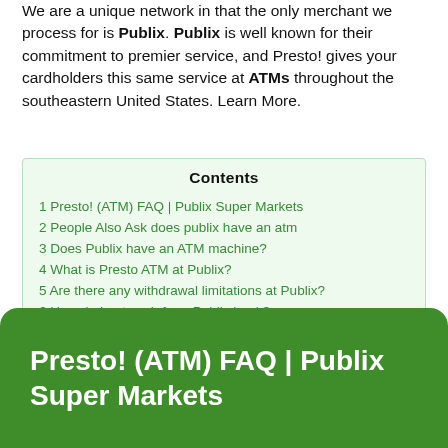We are a unique network in that the only merchant we process for is Publix. Publix is well known for their commitment to premier service, and Presto! gives your cardholders this same service at ATMs throughout the southeastern United States. Learn More.
| Contents |
| --- |
| 1 Presto! (ATM) FAQ | Publix Super Markets |
| 2 People Also Ask does publix have an atm |
| 3 Does Publix have an ATM machine? |
| 4 What is Presto ATM at Publix? |
| 5 Are there any withdrawal limitations at Publix? |
| 6 How do I get cash from Publix bank? |
| 7 People Also Searches does publix have an atm |
| 8 Publix ATM took my Money Video Answer |
Presto! (ATM) FAQ | Publix Super Markets